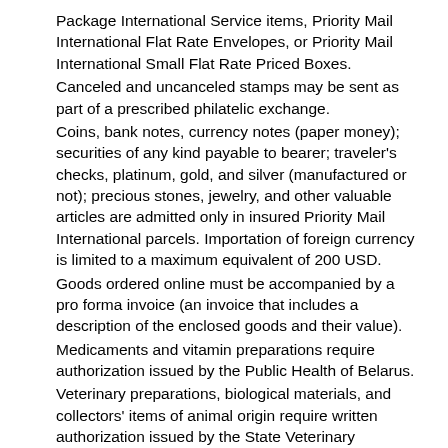Package International Service items, Priority Mail International Flat Rate Envelopes, or Priority Mail International Small Flat Rate Priced Boxes.
Canceled and uncanceled stamps may be sent as part of a prescribed philatelic exchange.
Coins, bank notes, currency notes (paper money); securities of any kind payable to bearer; traveler's checks, platinum, gold, and silver (manufactured or not); precious stones, jewelry, and other valuable articles are admitted only in insured Priority Mail International parcels. Importation of foreign currency is limited to a maximum equivalent of 200 USD.
Goods ordered online must be accompanied by a pro forma invoice (an invoice that includes a description of the enclosed goods and their value).
Medicaments and vitamin preparations require authorization issued by the Public Health of Belarus.
Veterinary preparations, biological materials, and collectors' items of animal origin require written authorization issued by the State Veterinary Inspectorate of the Ministry of Agriculture and Foods in Belarus.
Observations
1. Depending on the nature and origin, many articles are